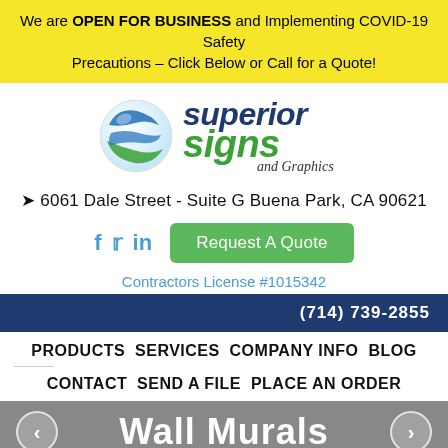We are OPEN FOR BUSINESS and Implementing COVID-19 Safety Precautions – Click Below or Call for a Quote!
[Figure (logo): Superior Signs and Graphics logo with globe icon and stylized text]
📍 6061 Dale Street - Suite G Buena Park, CA 90621
f  🐦  in  |  Request A Quote
Contractors License #1015342
(714) 739-2855
PRODUCTS  SERVICES  COMPANY INFO  BLOG
CONTACT  SEND A FILE  PLACE AN ORDER
Wall Murals